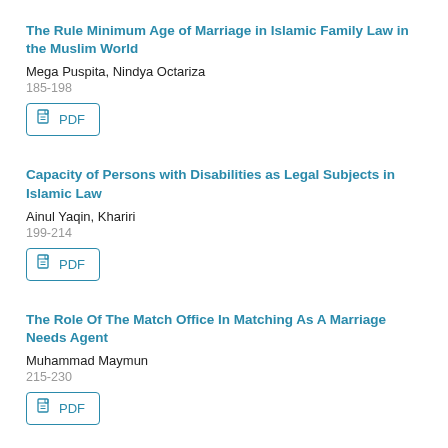The Rule Minimum Age of Marriage in Islamic Family Law in the Muslim World
Mega Puspita, Nindya Octariza
185-198
[Figure (other): PDF download button]
Capacity of Persons with Disabilities as Legal Subjects in Islamic Law
Ainul Yaqin, Khariri
199-214
[Figure (other): PDF download button]
The Role Of The Match Office In Matching As A Marriage Needs Agent
Muhammad Maymun
215-230
[Figure (other): PDF download button (partially visible)]